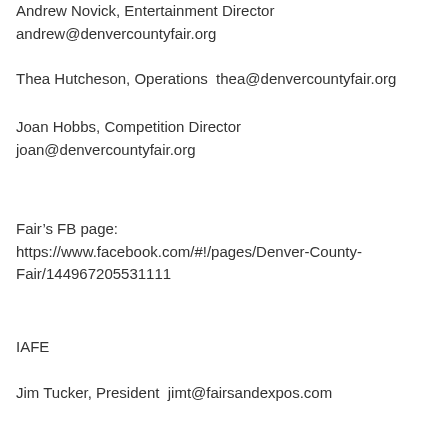Andrew Novick, Entertainment Director
andrew@denvercountyfair.org
Thea Hutcheson, Operations  thea@denvercountyfair.org
Joan Hobbs, Competition Director
joan@denvercountyfair.org
Fair's FB page:
https://www.facebook.com/#!/pages/Denver-County-Fair/144967205531111
IAFE
Jim Tucker, President  jimt@fairsandexpos.com